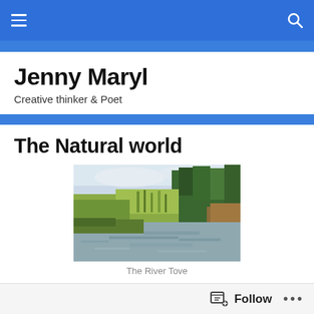Navigation bar with hamburger menu and search icon
Jenny Maryl
Creative thinker & Poet
The Natural world
[Figure (photo): A river scene with lush green vegetation, reeds, trees, and calm water reflecting the surroundings — The River Tove]
The River Tove
Follow  •••